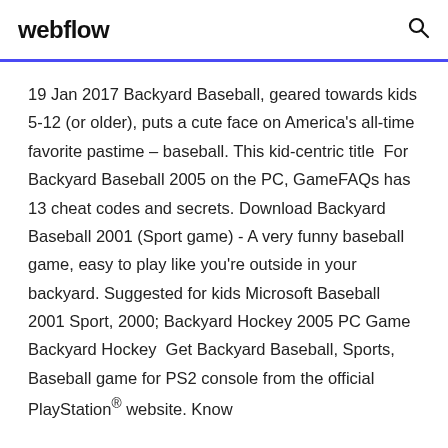webflow
19 Jan 2017 Backyard Baseball, geared towards kids 5-12 (or older), puts a cute face on America's all-time favorite pastime – baseball. This kid-centric title  For Backyard Baseball 2005 on the PC, GameFAQs has 13 cheat codes and secrets. Download Backyard Baseball 2001 (Sport game) - A very funny baseball game, easy to play like you're outside in your backyard. Suggested for kids Microsoft Baseball 2001 Sport, 2000; Backyard Hockey 2005 PC Game Backyard Hockey  Get Backyard Baseball, Sports, Baseball game for PS2 console from the official PlayStation® website. Know